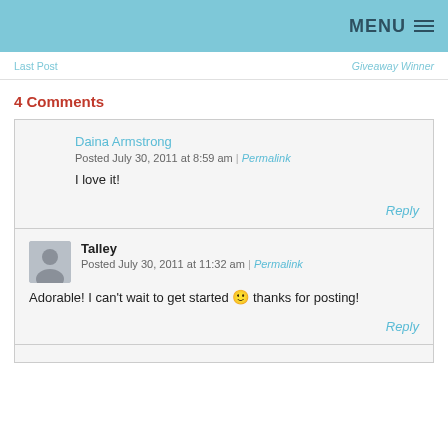MENU ≡
Last Post | Giveaway Winner
4 Comments
Daina Armstrong
Posted July 30, 2011 at 8:59 am | Permalink
I love it!
Reply
Talley
Posted July 30, 2011 at 11:32 am | Permalink
Adorable! I can't wait to get started 🙂 thanks for posting!
Reply